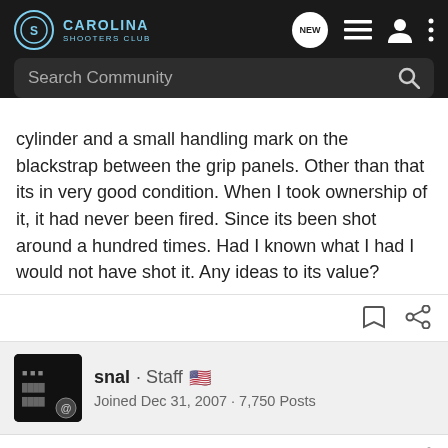Carolina Shooters Club — navigation bar with search
cylinder and a small handling mark on the blackstrap between the grip panels. Other than that its in very good condition. When I took ownership of it, it had never been fired. Since its been shot around a hundred times. Had I known what I had I would not have shot it. Any ideas to its value?
snal · Staff · Joined Dec 31, 2007 · 7,750 Posts
#2 · Oct 18, 2012
I have 2 in stainless, and a stainless Service Six...all acquired in the last 4 years and in excellent condition. didn't pay over